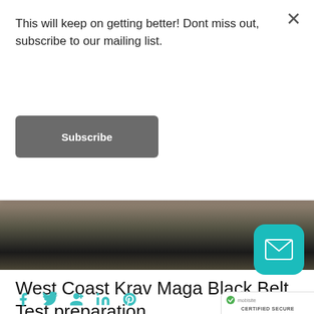This will keep on getting better! Dont miss out, subscribe to our mailing list.
Subscribe
[Figure (photo): Partial view of a person in a dark outfit, blurred action photo from a Krav Maga training session]
West Coast Krav Maga Black Belt Test preparation.
July 4, 2019   by Rob
Blackbelttest, coaching, excercise, fatforfuel, fatloss, fitness, health, Krav Maga, LCHF, longevity, Martialarts, recovery, robsprimallife, wckm, west coast krav maga
17486
[Figure (logo): Mail/envelope icon in teal rounded square badge]
[Figure (infographic): Certified Secure badge with green checkmark and mobisite logo]
[Figure (infographic): Social sharing icons row: Facebook, Twitter, Google+, LinkedIn, Pinterest]